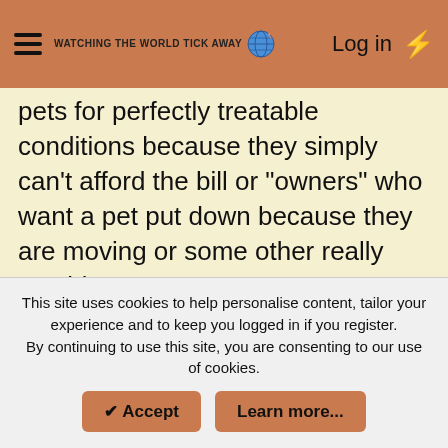WATCHING THE WORLD TICK AWAY — Log in
pets for perfectly treatable conditions because they simply can't afford the bill or "owners" who want a pet put down because they are moving or some other really stupid excuse.
That along with the sadness and loss every time they can't save a patient, and while medical doctors experience the same thing with humans, Nightwolf told me that outside of certain specialties like Cancer treatment, brain surgeons or missionary/tropical medicine; most doctors don't deal with it nearly ever
This site uses cookies to help personalise content, tailor your experience and to keep you logged in if you register. By continuing to use this site, you are consenting to our use of cookies.